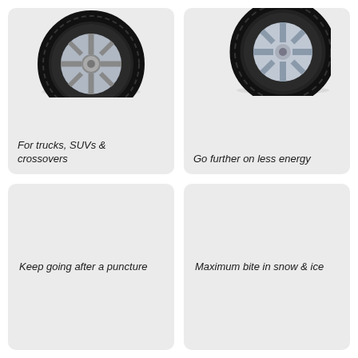[Figure (illustration): Tire for trucks, SUVs and crossovers — showing a dark all-season tire with alloy wheel]
For trucks, SUVs & crossovers
[Figure (illustration): Fuel-efficient tire — showing a tire with alloy wheel, partially visible]
Go further on less energy
[Figure (illustration): Run-flat tire card — bottom half cut off, label visible]
Keep going after a puncture
[Figure (illustration): Winter / ice tire card — bottom half cut off, label visible]
Maximum bite in snow & ice